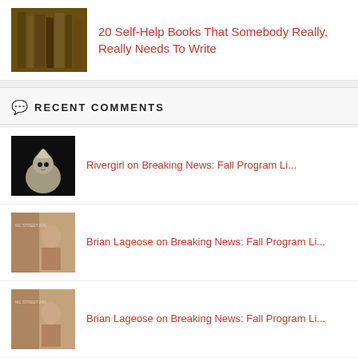[Figure (illustration): Thumbnail of books on shelves, sepia/brown tone]
20 Self-Help Books That Somebody Really, Really Needs To Write
RECENT COMMENTS
[Figure (photo): White bird (cockatoo) on dark background]
Rivergirl on Breaking News: Fall Program Li...
[Figure (photo): Sepia photo of person near NG Street Inn sign]
Brian Lageose on Breaking News: Fall Program Li...
[Figure (photo): Sepia photo of person near NG Street Inn sign]
Brian Lageose on Breaking News: Fall Program Li...
[Figure (photo): Sepia photo of person near NG Street Inn sign]
Brian Lageose on Breaking News: Fall Program Li...
[Figure (photo): Sepia photo of person near NG Street Inn sign]
Brian Lageose on Breaking News: Fall Program Li...